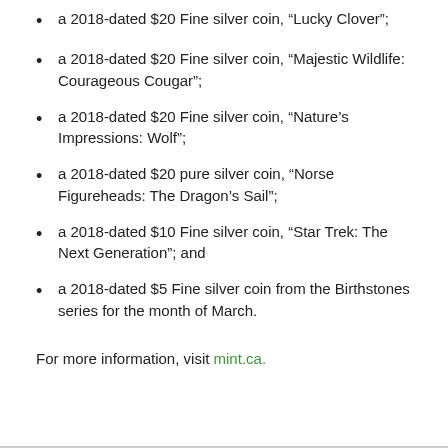a 2018-dated $20 Fine silver coin, “Lucky Clover”;
a 2018-dated $20 Fine silver coin, “Majestic Wildlife: Courageous Cougar”;
a 2018-dated $20 Fine silver coin, “Nature’s Impressions: Wolf”;
a 2018-dated $20 pure silver coin, “Norse Figureheads: The Dragon’s Sail”;
a 2018-dated $10 Fine silver coin, “Star Trek: The Next Generation”; and
a 2018-dated $5 Fine silver coin from the Birthstones series for the month of March.
For more information, visit mint.ca.